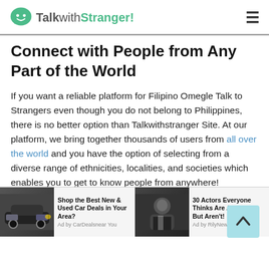TalkwithStranger!
Connect with People from Any Part of the World
If you want a reliable platform for Filipino Omegle Talk to Strangers even though you do not belong to Philippines, there is no better option than Talkwithstranger Site. At our platform, we bring together thousands of users from all over the world and you have the option of selecting from a diverse range of ethnicities, localities, and societies which enables you to get to know people from anywhere!
It also allows you to get to know other cultures and look
[Figure (screenshot): Advertisement banner: two ad units side by side. Left: car image with text 'Shop the Best New & Used Car Deals in Your Area?' by CarDealsnear You. Right: celebrity photo with text '30 Actors Everyone Thinks Are American, But Aren't!' by RilyNews.]